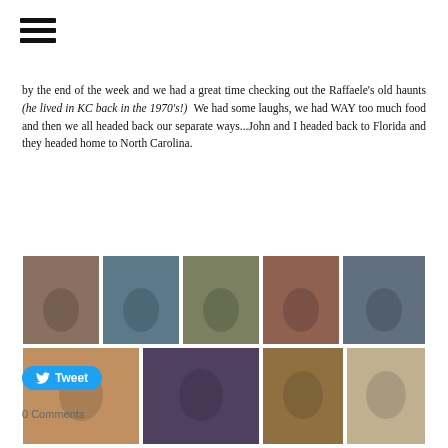[Figure (other): Hamburger menu icon (three horizontal lines)]
by the end of the week and we had a great time checking out the Raffaele's old haunts (he lived in KC back in the 1970's!) We had some laughs, we had WAY too much food and then we all headed back our separate ways...John and I headed back to Florida and they headed home to North Carolina.
[Figure (photo): A collage of 8 group selfie photos showing people smiling and socializing, arranged in a 2-row grid.]
Tweet
0 Comments